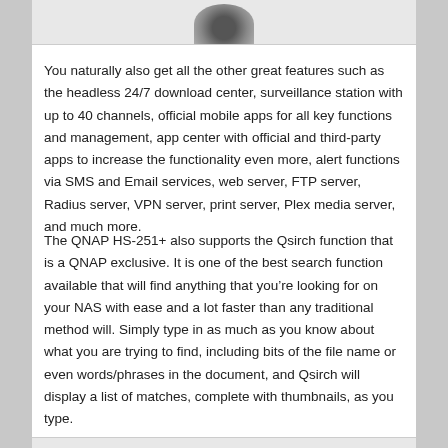[Figure (photo): Partial image of a device (QNAP NAS unit), showing only the top portion cropped at the top of the page.]
You naturally also get all the other great features such as the headless 24/7 download center, surveillance station with up to 40 channels, official mobile apps for all key functions and management, app center with official and third-party apps to increase the functionality even more, alert functions via SMS and Email services, web server, FTP server, Radius server, VPN server, print server, Plex media server, and much more.
The QNAP HS-251+ also supports the Qsirch function that is a QNAP exclusive. It is one of the best search function available that will find anything that you’re looking for on your NAS with ease and a lot faster than any traditional method will. Simply type in as much as you know about what you are trying to find, including bits of the file name or even words/phrases in the document, and Qsirch will display a list of matches, complete with thumbnails, as you type.